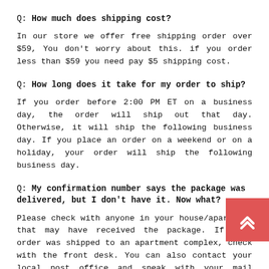Q: How much does shipping cost?
In our store we offer free shipping order over $59, You don't worry about this. if you order less than $59 you need pay $5 shipping cost.
Q: How long does it take for my order to ship?
If you order before 2:00 PM ET on a business day, the order will ship out that day. Otherwise, it will ship the following business day. If you place an order on a weekend or on a holiday, your order will ship the following business day.
Q: My confirmation number says the package was delivered, but I don't have it. Now what?
Please check with anyone in your house/apartment that may have received the package. If your order was shipped to an apartment complex, check with the front desk. You can also contact your local post office and speak with your mail carrier or delivery manager about where the package was left.
Q: I received my shipping confirmation email, but the tracking number does not work. Did my order ship?